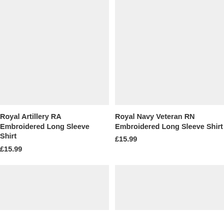[Figure (photo): Product image placeholder for Royal Artillery RA Embroidered Long Sleeve Shirt - light grey background]
Royal Artillery RA Embroidered Long Sleeve Shirt
£15.99
[Figure (photo): Product image placeholder for Royal Navy Veteran RN Embroidered Long Sleeve Shirt - light grey background]
Royal Navy Veteran RN Embroidered Long Sleeve Shirt
£15.99
[Figure (photo): Product image placeholder - light grey background, partially visible]
[Figure (photo): Product image placeholder - light grey background, partially visible]